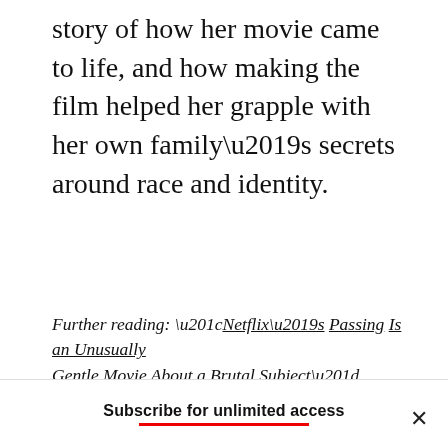story of how her movie came to life, and how making the film helped her grapple with her own family’s secrets around race and identity.
Further reading: “Netflix’s Passing Is an Unusually Gentle Movie About a Brutal Subject”
Subscribe for unlimited access